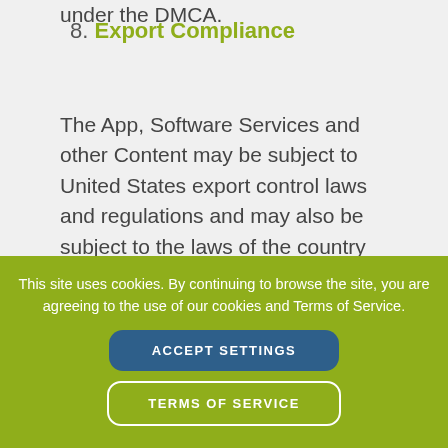under the DMCA.
8. Export Compliance
The App, Software Services and other Content may be subject to United States export control laws and regulations and may also be subject to the laws of the country where you reside. You agree to th
This site uses cookies. By continuing to browse the site, you are agreeing to the use of our cookies and Terms of Service.
ACCEPT SETTINGS
TERMS OF SERVICE